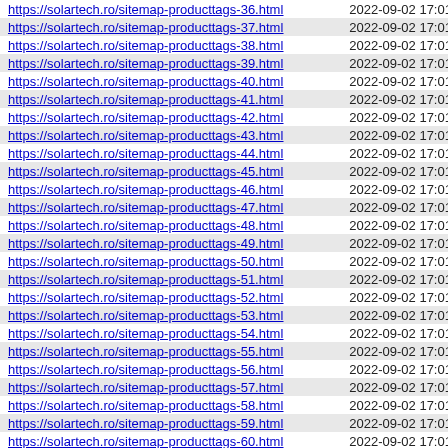| URL | Date |
| --- | --- |
| https://solartech.ro/sitemap-producttags-36.html | 2022-09-02 17:01 |
| https://solartech.ro/sitemap-producttags-37.html | 2022-09-02 17:01 |
| https://solartech.ro/sitemap-producttags-38.html | 2022-09-02 17:01 |
| https://solartech.ro/sitemap-producttags-39.html | 2022-09-02 17:01 |
| https://solartech.ro/sitemap-producttags-40.html | 2022-09-02 17:01 |
| https://solartech.ro/sitemap-producttags-41.html | 2022-09-02 17:01 |
| https://solartech.ro/sitemap-producttags-42.html | 2022-09-02 17:01 |
| https://solartech.ro/sitemap-producttags-43.html | 2022-09-02 17:01 |
| https://solartech.ro/sitemap-producttags-44.html | 2022-09-02 17:01 |
| https://solartech.ro/sitemap-producttags-45.html | 2022-09-02 17:01 |
| https://solartech.ro/sitemap-producttags-46.html | 2022-09-02 17:01 |
| https://solartech.ro/sitemap-producttags-47.html | 2022-09-02 17:01 |
| https://solartech.ro/sitemap-producttags-48.html | 2022-09-02 17:01 |
| https://solartech.ro/sitemap-producttags-49.html | 2022-09-02 17:01 |
| https://solartech.ro/sitemap-producttags-50.html | 2022-09-02 17:01 |
| https://solartech.ro/sitemap-producttags-51.html | 2022-09-02 17:01 |
| https://solartech.ro/sitemap-producttags-52.html | 2022-09-02 17:01 |
| https://solartech.ro/sitemap-producttags-53.html | 2022-09-02 17:01 |
| https://solartech.ro/sitemap-producttags-54.html | 2022-09-02 17:01 |
| https://solartech.ro/sitemap-producttags-55.html | 2022-09-02 17:01 |
| https://solartech.ro/sitemap-producttags-56.html | 2022-09-02 17:01 |
| https://solartech.ro/sitemap-producttags-57.html | 2022-09-02 17:01 |
| https://solartech.ro/sitemap-producttags-58.html | 2022-09-02 17:01 |
| https://solartech.ro/sitemap-producttags-59.html | 2022-09-02 17:01 |
| https://solartech.ro/sitemap-producttags-60.html | 2022-09-02 17:01 |
| https://solartech.ro/sitemap-producttags-61.html | 2022-09-02 17:01 |
| https://solartech.ro/sitemap-producttags-62.html | 2022-09-02 17:01 |
| https://solartech.ro/sitemap-producttags-63.html | 2022-09-02 17:01 |